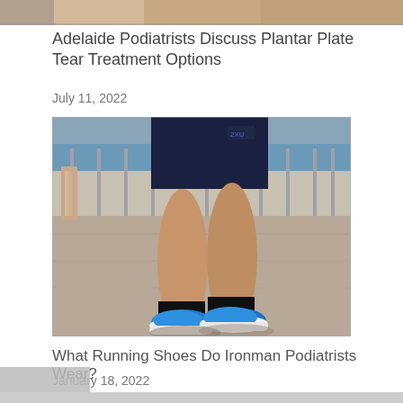[Figure (photo): Partial view of person at top of page, cropped]
Adelaide Podiatrists Discuss Plantar Plate Tear Treatment Options
July 11, 2022
[Figure (photo): Close-up photo of a runner's legs and blue running shoes on pavement near a harbor fence]
What Running Shoes Do Ironman Podiatrists Wear?
January 18, 2022